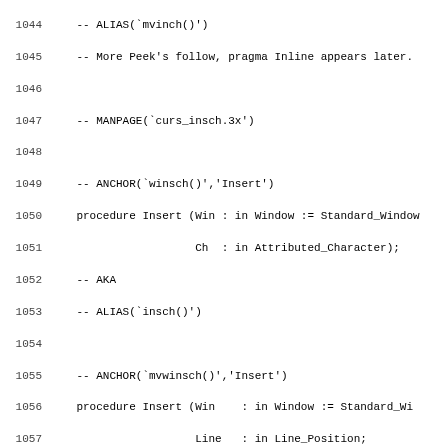Source code listing lines 1044-1075 showing Ada procedure declarations with comments including ALIAS, MANPAGE, ANCHOR directives